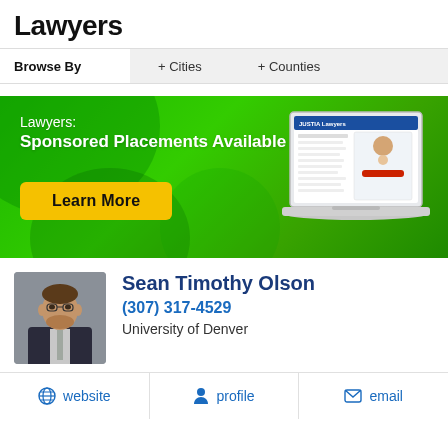Lawyers
Browse By   + Cities   + Counties
[Figure (infographic): Green gradient advertisement banner for Justia Lawyers Sponsored Placements with Learn More button and laptop mockup image]
Sean Timothy Olson
(307) 317-4529
University of Denver
website   profile   email